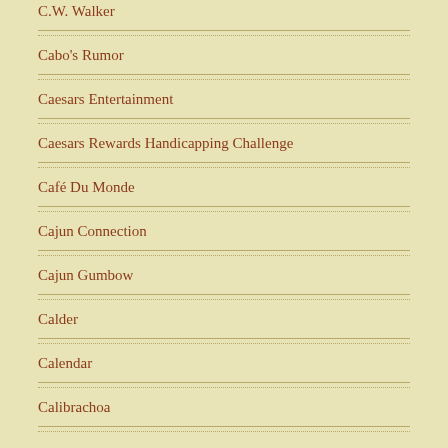C.W. Walker
Cabo's Rumor
Caesars Entertainment
Caesars Rewards Handicapping Challenge
Café Du Monde
Cajun Connection
Cajun Gumbow
Calder
Calendar
Calibrachoa